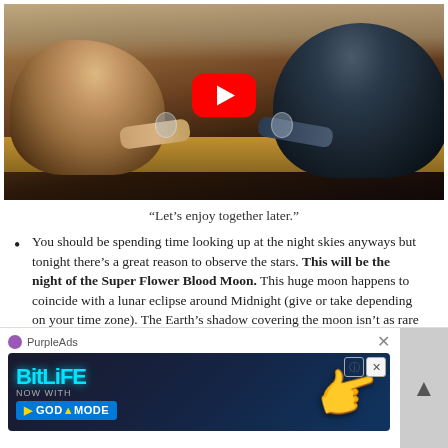[Figure (screenshot): YouTube video thumbnail showing two people sitting across a table in a kitchen/dining setting, with a red YouTube play button overlay in the center]
“Let’s enjoy together later.”
You should be spending time looking up at the night skies anyways but tonight there’s a great reason to observe the stars. This will be the night of the Super Flower Blood Moon. This huge moon happens to coincide with a lunar eclipse around Midnight (give or take depending on your time zone). The Earth’s shadow covering the moon isn’t as rare as solar eclipses but it still fills me with awe.
Sunday Morning Tuneage Flashback
...ning off a...e of Survivor: Cook Islands and predicted that they would
[Figure (screenshot): PurpleAds advertisement banner for BitLife with GOD MODE feature, showing a hand pointing graphic on dark blue background]